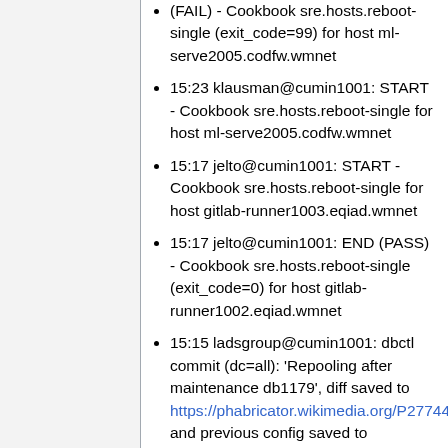(FAIL) - Cookbook sre.hosts.reboot-single (exit_code=99) for host ml-serve2005.codfw.wmnet
15:23 klausman@cumin1001: START - Cookbook sre.hosts.reboot-single for host ml-serve2005.codfw.wmnet
15:17 jelto@cumin1001: START - Cookbook sre.hosts.reboot-single for host gitlab-runner1003.eqiad.wmnet
15:17 jelto@cumin1001: END (PASS) - Cookbook sre.hosts.reboot-single (exit_code=0) for host gitlab-runner1002.eqiad.wmnet
15:15 ladsgroup@cumin1001: dbctl commit (dc=all): 'Repooling after maintenance db1179', diff saved to https://phabricator.wikimedia.org/P27744 and previous config saved to /var/cache/conftool/dbconfig/20220505-151548-ladsgroup.json